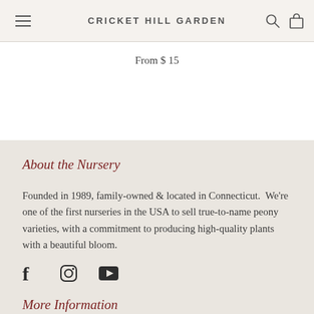CRICKET HILL GARDEN
From $ 15
About the Nursery
Founded in 1989, family-owned & located in Connecticut.  We're one of the first nurseries in the USA to sell true-to-name peony varieties, with a commitment to producing high-quality plants with a beautiful bloom.
[Figure (infographic): Social media icons: Facebook, Instagram, YouTube]
More Information